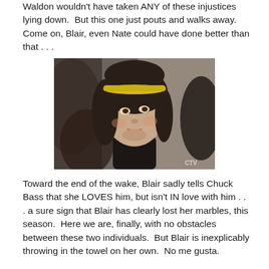Waldon wouldn't have taken ANY of these injustices lying down.  But this one just pouts and walks away.  Come on, Blair, even Nate could have done better than that . . .
[Figure (photo): A young woman with dark hair wearing a yellow headband and dark jacket, looking upward, with blurred figures in the background. CTV watermark visible in bottom right corner.]
Toward the end of the wake, Blair sadly tells Chuck Bass that she LOVES him, but isn't IN love with him . . . a sure sign that Blair has clearly lost her marbles, this season.  Here we are, finally, with no obstacles between these two individuals.  But Blair is inexplicably throwing in the towel on her own.  No me gusta.